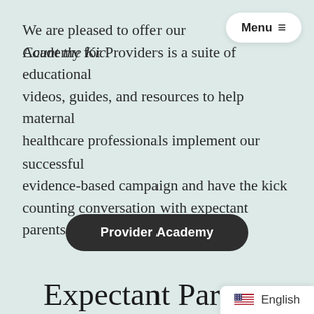We are pleased to offer our Count the Kicks Academy for Providers is a suite of educational videos, guides, and resources to help maternal healthcare professionals implement our successful evidence-based campaign and have the kick counting conversation with expectant parents.
Provider Academy
Expectant Parents
Expectant parents can get to know what's normal for their baby by counting kicks every day in the third trimester. The Count th…